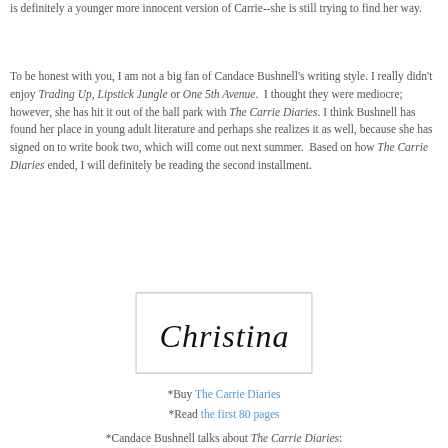is definitely a younger more innocent version of Carrie--she is still trying to find her way.
To be honest with you, I am not a big fan of Candace Bushnell's writing style. I really didn't enjoy Trading Up, Lipstick Jungle or One 5th Avenue.  I thought they were mediocre; however, she has hit it out of the ball park with The Carrie Diaries. I think Bushnell has found her place in young adult literature and perhaps she realizes it as well, because she has signed on to write book two, which will come out next summer.  Based on how The Carrie Diaries ended, I will definitely be reading the second installment.
[Figure (illustration): Handwritten cursive signature reading 'Christina' inside a rectangular box with a thin border.]
*Buy The Carrie Diaries
*Read the first 80 pages
*Candace Bushnell talks about The Carrie Diaries: